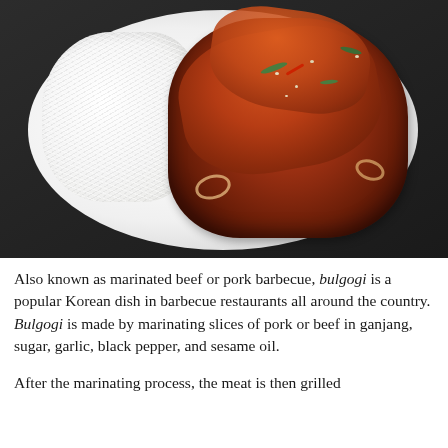[Figure (photo): A white plate with bulgogi (Korean marinated pork/beef stir-fry in red/orange sauce with green garnish and sesame seeds) on the right side and steamed white rice on the left side, photographed on a dark background.]
Also known as marinated beef or pork barbecue, bulgogi is a popular Korean dish in barbecue restaurants all around the country. Bulgogi is made by marinating slices of pork or beef in ganjang, sugar, garlic, black pepper, and sesame oil.
After the marinating process, the meat is then grilled